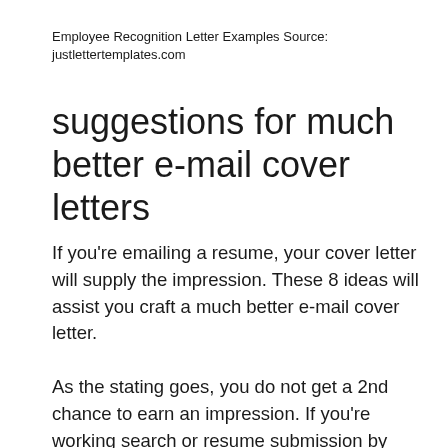Employee Recognition Letter Examples Source: justlettertemplates.com
suggestions for much better e-mail cover letters
If you're emailing a resume, your cover letter will supply the impression. These 8 ideas will assist you craft a much better e-mail cover letter.
As the stating goes, you do not get a 2nd chance to earn an impression. If you're working search or resume submission by means of email, the first impression any type of employer will have is from your cover letter.